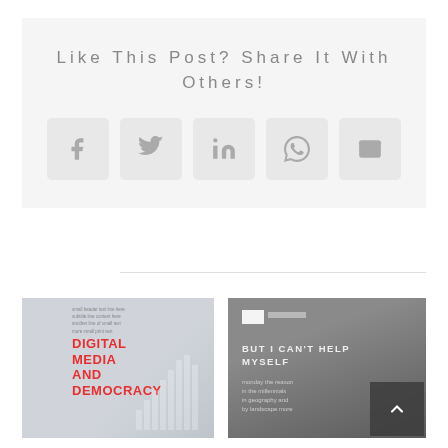Like This Post? Share It With Others!
[Figure (infographic): Social media share buttons: Facebook, Twitter, LinkedIn, WhatsApp, Email]
[Figure (illustration): Thumbnail: Digital Media and Democracy book/article cover with red pixelated text and bar chart graphic]
[Figure (photo): Thumbnail: 'But I Can't Help Myself' article with fish photo on stone background]